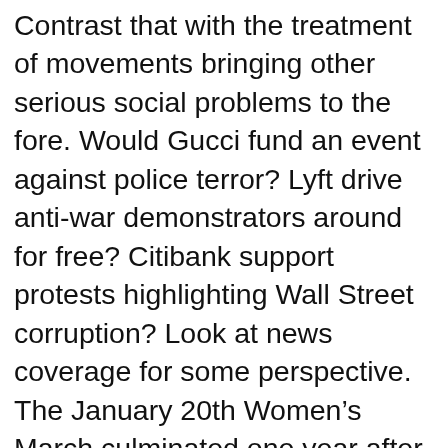Contrast that with the treatment of movements bringing other serious social problems to the fore. Would Gucci fund an event against police terror? Lyft drive anti-war demonstrators around for free? Citibank support protests highlighting Wall Street corruption? Look at news coverage for some perspective. The January 20th Women's March culminated one year after the first, a year during which sexual violence, workplace discrimination and cultural misogyny rose to a level of awareness never seen before. Powerful men fell from grace, even well known offenders who had previously lived immune from conduct criticism. Significant subjects were raised that affected absolutely everyone in society. Despite this, the massive event took place with scarcely any attention from major networks.